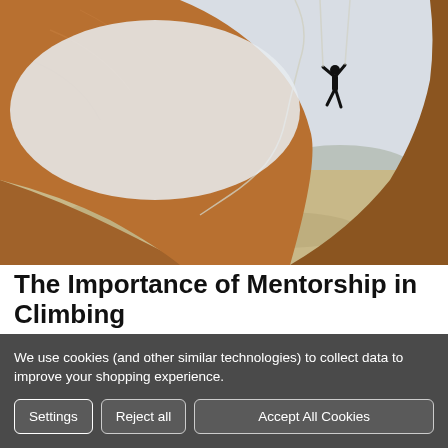[Figure (photo): A rock climber hanging from a dramatic sandstone overhang, viewed from inside a cave. Below stretches a vast desert landscape with a town and winding road visible in the valley.]
The Importance of Mentorship in Climbing
We use cookies (and other similar technologies) to collect data to improve your shopping experience.
Settings | Reject all | Accept All Cookies